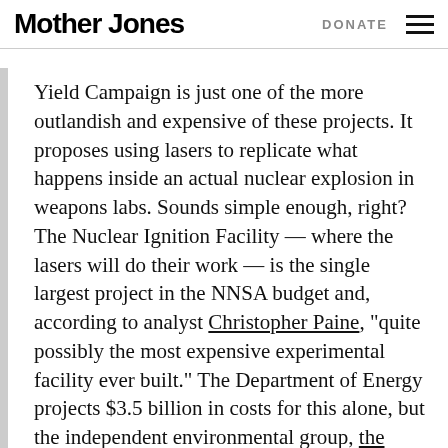Mother Jones | DONATE
Yield Campaign is just one of the more outlandish and expensive of these projects. It proposes using lasers to replicate what happens inside an actual nuclear explosion in weapons labs. Sounds simple enough, right? The Nuclear Ignition Facility — where the lasers will do their work — is the single largest project in the NNSA budget and, according to analyst Christopher Paine, “quite possibly the most expensive experimental facility ever built.” The Department of Energy projects $3.5 billion in costs for this alone, but the independent environmental group, the National Resources Defense Council, puts the